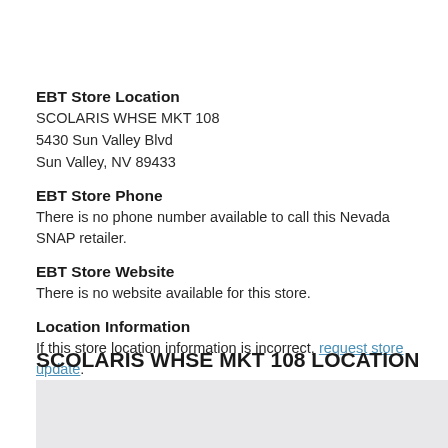EBT Store Location
SCOLARIS WHSE MKT 108
5430 Sun Valley Blvd
Sun Valley, NV 89433
EBT Store Phone
There is no phone number available to call this Nevada SNAP retailer.
EBT Store Website
There is no website available for this store.
Location Information
If this store location information is incorrect, request store update.
SCOLARIS WHSE MKT 108 LOCATION
[Figure (map): Map showing the location of SCOLARIS WHSE MKT 108 at 5430 Sun Valley Blvd, Sun Valley, NV 89433]